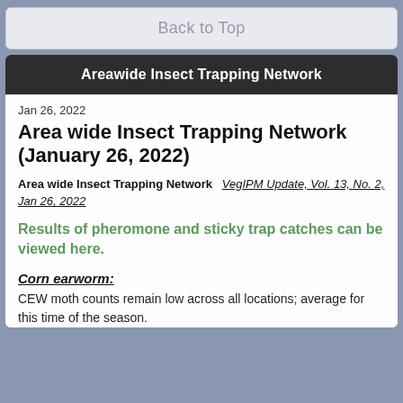Back to Top
Areawide Insect Trapping Network
Jan 26, 2022
Area wide Insect Trapping Network (January 26, 2022)
Area wide Insect Trapping Network   VegIPM Update, Vol. 13, No. 2, Jan 26, 2022
Results of pheromone and sticky trap catches can be viewed here.
Corn earworm:
CEW moth counts remain low across all locations; average for this time of the season.